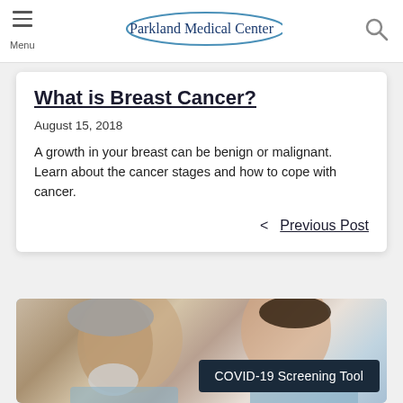Menu | Parkland Medical Center
What is Breast Cancer?
August 15, 2018
A growth in your breast can be benign or malignant. Learn about the cancer stages and how to cope with cancer.
< Previous Post
[Figure (photo): Elderly man with white beard talking to a younger female healthcare professional or nurse, suggesting a medical consultation. A COVID-19 Screening Tool banner overlay appears at the bottom right.]